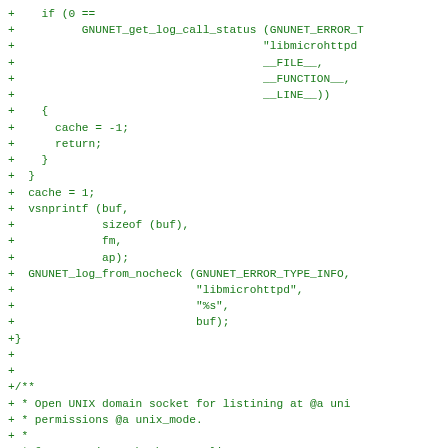[Figure (screenshot): Code diff snippet in green monospace font showing C code additions including GNUNET_get_log_call_status, cache assignments, vsnprintf, GNUNET_log_from_nocheck calls, and a comment block about opening a UNIX domain socket.]